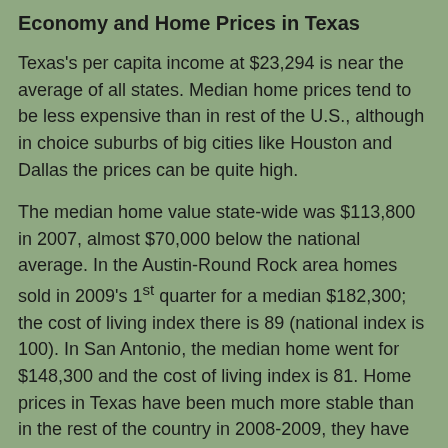Economy and Home Prices in Texas
Texas's per capita income at $23,294 is near the average of all states. Median home prices tend to be less expensive than in rest of the U.S., although in choice suburbs of big cities like Houston and Dallas the prices can be quite high.
The median home value state-wide was $113,800 in 2007, almost $70,000 below the national average. In the Austin-Round Rock area homes sold in 2009's 1st quarter for a median $182,300; the cost of living index there is 89 (national index is 100). In San Antonio, the median home went for $148,300 and the cost of living index is 81. Home prices in Texas have been much more stable than in the rest of the country in 2008-2009, they have hardly declined at all.
Texas Taxes
Texas has no income tax. State sales tax is 6.25%. Total tax burden in Houston is a very low 6.6% compared to the median rate for large U.S. cities. The state is ranked by the Tax Foundation as having the 43rd highest total state/local